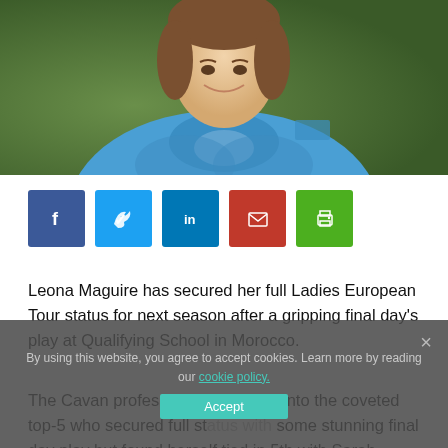[Figure (photo): Portrait photo of Leona Maguire wearing a blue Puma jacket, smiling, with a green blurred background]
[Figure (infographic): Row of social sharing buttons: Facebook (blue), Twitter (light blue), LinkedIn (blue), Email (red), Print (green)]
Leona Maguire has secured her full Ladies European Tour status for next season after a gripping final day's play at Qualifying School in Morocco.
The Cavan professional squeezed into the coveted top-5 who secured full status with some stunning final day play but found herself tied in 5th with Sarah Nillson
By using this website, you agree to accept cookies. Learn more by reading our cookie policy.